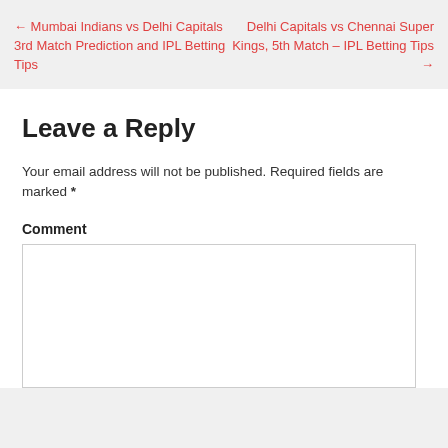← Mumbai Indians vs Delhi Capitals 3rd Match Prediction and IPL Betting Tips
Delhi Capitals vs Chennai Super Kings, 5th Match – IPL Betting Tips →
Leave a Reply
Your email address will not be published. Required fields are marked *
Comment